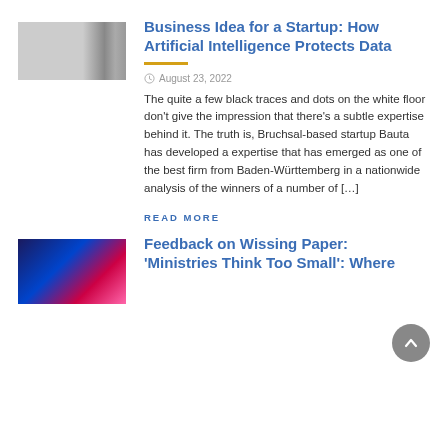[Figure (photo): Thumbnail image, grayscale/dark tones, partially visible]
Business Idea for a Startup: How Artificial Intelligence Protects Data
August 23, 2022
The quite a few black traces and dots on the white floor don't give the impression that there's a subtle expertise behind it. The truth is, Bruchsal-based startup Bauta has developed a expertise that has emerged as one of the best firm from Baden-Württemberg in a nationwide analysis of the winners of a number of […]
READ MORE
[Figure (photo): Colorful abstract image with blue, red, and pink neon tones]
Feedback on Wissing Paper: 'Ministries Think Too Small': Where